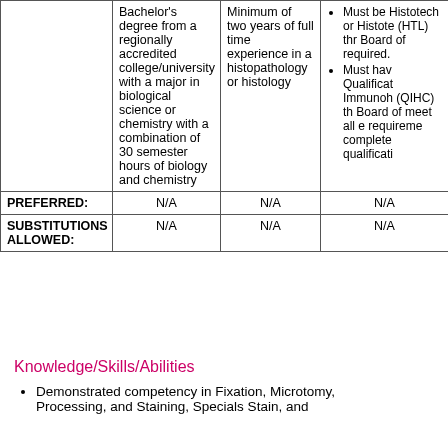|  | Education | Experience | Licensure/Certification |
| --- | --- | --- | --- |
|  | Bachelor's degree from a regionally accredited college/university with a major in biological science or chemistry with a combination of 30 semester hours of biology and chemistry | Minimum of two years of full time experience in a histopathology or histology | • Must be Histotech or Histote (HTL) thr Board of required.
• Must hav Qualificat Immunoh (QIHC) th Board of meet all e requireme complete qualificati |
| PREFERRED: | N/A | N/A | N/A |
| SUBSTITUTIONS ALLOWED: | N/A | N/A | N/A |
Knowledge/Skills/Abilities
Demonstrated competency in Fixation, Microtomy, Processing, and Staining, Specials Stain, and